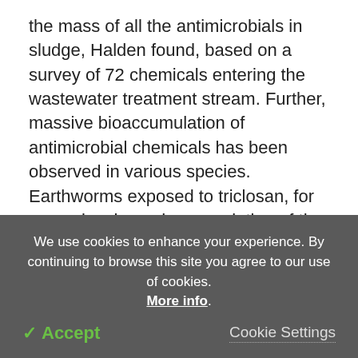the mass of all the antimicrobials in sludge, Halden found, based on a survey of 72 chemicals entering the wastewater treatment stream. Further, massive bioaccumulation of antimicrobial chemicals has been observed in various species. Earthworms exposed to triclosan, for example, showed accumulation of the chemical by a factor of 2700 percent.
Halden notes the impact these persistent chemicals can have on other life forms in the environment that are not their intended target. The thresholds for killing microbes are much higher than those for other more
We use cookies to enhance your experience. By continuing to browse this site you agree to our use of cookies. More info.